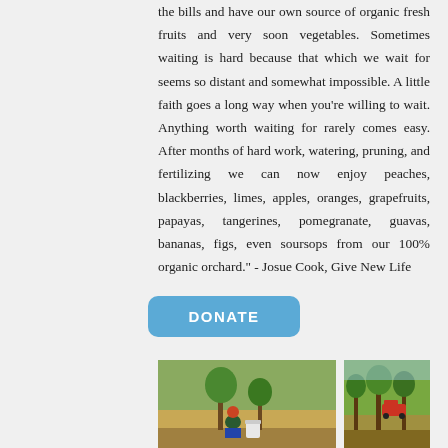the bills and have our own source of organic fresh fruits and very soon vegetables. Sometimes waiting is hard because that which we wait for seems so distant and somewhat impossible. A little faith goes a long way when you're willing to wait. Anything worth waiting for rarely comes easy. After months of hard work, watering, pruning, and fertilizing we can now enjoy peaches, blackberries, limes, apples, oranges, grapefruits, papayas, tangerines, pomegranate, guavas, bananas, figs, even soursops from our 100% organic orchard." - Josue Cook, Give New Life
[Figure (other): A blue rounded rectangle button with white bold text reading DONATE]
[Figure (photo): Left photo: a person wearing a red hat bending down near a small tree with a white bucket nearby, in an orchard setting]
[Figure (photo): Right photo: rows of trees in an orchard with a red vehicle visible in the background]